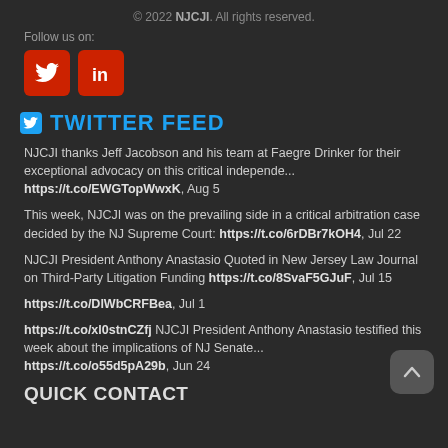© 2022 NJCJI. All rights reserved.
Follow us on:
[Figure (illustration): Two red social media icons: Twitter bird and LinkedIn 'in' logo]
TWITTER FEED
NJCJI thanks Jeff Jacobson and his team at Faegre Drinker for their exceptional advocacy on this critical independe... https://t.co/EWGTopWwxK, Aug 5
This week, NJCJI was on the prevailing side in a critical arbitration case decided by the NJ Supreme Court: https://t.co/6rDBr7kOH4, Jul 22
NJCJI President Anthony Anastasio Quoted in New Jersey Law Journal on Third-Party Litigation Funding https://t.co/8SvaF5GJuF, Jul 15
https://t.co/DlWbCRFBea, Jul 1
https://t.co/xl0stnCZfj NJCJI President Anthony Anastasio testified this week about the implications of NJ Senate... https://t.co/o55d5pA29b, Jun 24
QUICK CONTACT